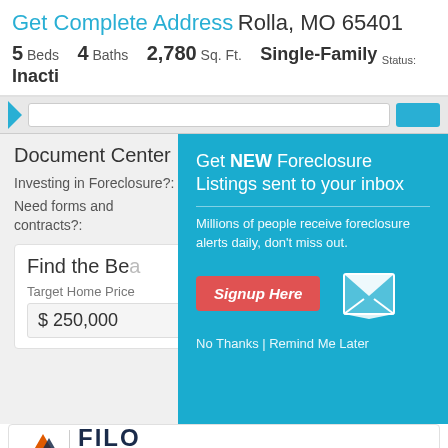Get Complete Address Rolla, MO 65401
5 Beds  4 Baths  2,780 Sq. Ft.  Single-Family  Status: Inactive
Document Center
Investing in Foreclosure?:  Get a Title Search
Need forms and contracts?:
Find the Be...
Target Home Price
$ 250,000
[Figure (screenshot): Popup modal with teal background: 'Get NEW Foreclosure Listings sent to your inbox. Millions of people receive foreclosure alerts daily, don't miss out.' with Signup Here button, envelope icon, and No Thanks | Remind Me Later links]
[Figure (logo): FILO MORTGAGE logo with orange arrow/F icon and dark blue FILO text]